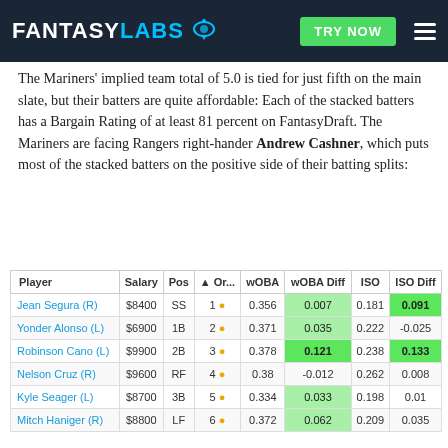FANTASYLABS | TRY NOW
The Mariners' implied team total of 5.0 is tied for just fifth on the main slate, but their batters are quite affordable: Each of the stacked batters has a Bargain Rating of at least 81 percent on FantasyDraft. The Mariners are facing Rangers right-hander Andrew Cashner, which puts most of the stacked batters on the positive side of their batting splits:
| Player | Salary | Pos | ▲ Or... | wOBA | wOBA Diff | ISO | ISO Diff |
| --- | --- | --- | --- | --- | --- | --- | --- |
| Jean Segura (R) | $8400 | SS | 1 | 0.356 | 0.007 | 0.181 | 0.091 |
| Yonder Alonso (L) | $6900 | 1B | 2 | 0.371 | 0.035 | 0.222 | -0.025 |
| Robinson Cano (L) | $9900 | 2B | 3 | 0.378 | 0.121 | 0.238 | 0.133 |
| Nelson Cruz (R) | $9600 | RF | 4 | 0.38 | -0.012 | 0.262 | 0.008 |
| Kyle Seager (L) | $8700 | 3B | 5 | 0.334 | 0.033 | 0.198 | 0.01 |
| Mitch Haniger (R) | $8800 | LF | 6 | 0.372 | 0.062 | 0.209 | 0.035 |